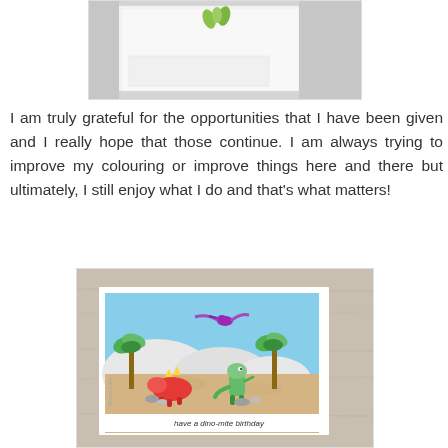[Figure (photo): Top portion of a greeting card with white background and small green leaf design, displayed on a light surface with blurred background]
I am truly grateful for the opportunities that I have been given and I really hope that those continue. I am always trying to improve my colouring or improve things here and there but ultimately, I still enjoy what I do and that's what matters!
[Figure (photo): A handmade birthday card featuring cute cartoon dinosaurs in a prehistoric scene with palm trees, mountains, and blue sky. Text reads 'have a dino-mite birthday'. Card is displayed against a light wood background.]